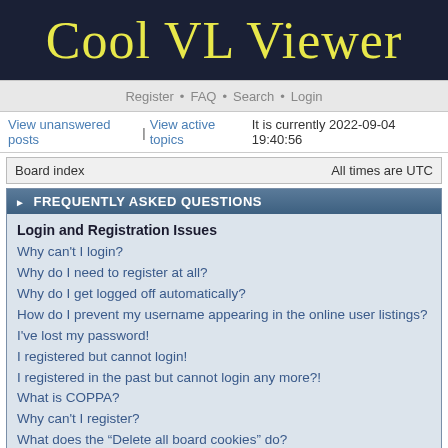Cool VL Viewer
Register • FAQ • Search • Login
View unanswered posts | View active topics It is currently 2022-09-04 19:40:56
Board index    All times are UTC
FREQUENTLY ASKED QUESTIONS
Login and Registration Issues
Why can't I login?
Why do I need to register at all?
Why do I get logged off automatically?
How do I prevent my username appearing in the online user listings?
I've lost my password!
I registered but cannot login!
I registered in the past but cannot login any more?!
What is COPPA?
Why can't I register?
What does the “Delete all board cookies” do?
User Preferences and settings
How do I change my settings?
The times are not correct!
I changed the timezone and the time is still wrong!
My language is not in the list!